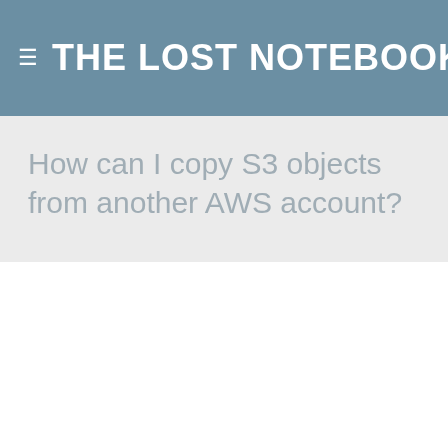THE LOST NOTEBOOK
How can I copy S3 objects from another AWS account?